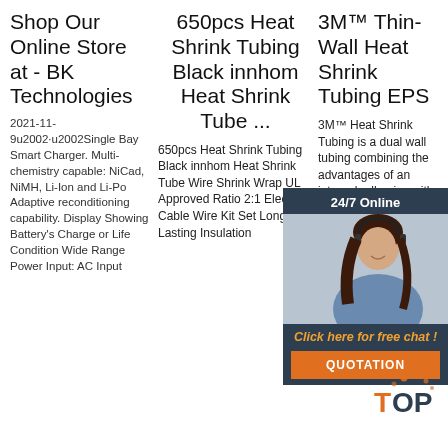Shop Our Online Store at - BK Technologies
2021-11-9u2002·u2002Single Bay Smart Charger. Multi-chemistry capable: NiCad, NiMH, Li-Ion and Li-Po Adaptive reconditioning capability. Display Showing Battery's Charge or Life Condition Wide Range Power Input: AC Input
650pcs Heat Shrink Tubing Black innhom Heat Shrink Tube ...
650pcs Heat Shrink Tubing Black innhom Heat Shrink Tube Wire Shrink Wrap UL Approved Ratio 2:1 Electrical Cable Wire Kit Set Long Lasting Insulation
3M™ Thin-Wall Heat Shrink Tubing EPS
3M™ Heat Shrink Tubing is a dual wall tubing combining the advantages of an internal adhesive with dual wall construction. This flame retardant tubing with a 3:1 shrink ratio offers insulation for 600V rated applications. The
[Figure (photo): Chat widget overlay showing a smiling woman with headset, dark background with '24/7 Online' header text, 'Click here for free chat!' in orange italic, and 'QUOTATION' orange button]